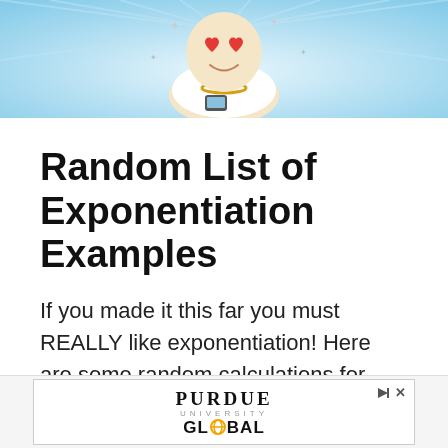[Figure (illustration): Cartoon character with heart eyes wearing white robe and gold chain, holding a device, with blue ray background]
Random List of Exponentiation Examples
If you made it this far you must REALLY like exponentiation! Here are some random calculations for you:
[Figure (logo): Purdue University Global advertisement banner]